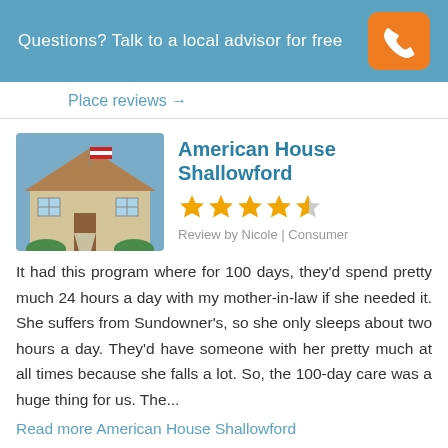Questions? Talk to a local advisor for free
Place reviews →
American House Shallowford
Review by Nicole | Consumer
It had this program where for 100 days, they'd spend pretty much 24 hours a day with my mother-in-law if she needed it. She suffers from Sundowner's, so she only sleeps about two hours a day. They'd have someone with her pretty much at all times because she falls a lot. So, the 100-day care was a huge thing for us. The...
Read more American House Shallowford